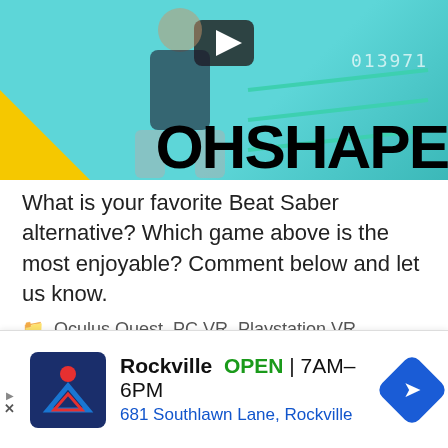[Figure (screenshot): Video thumbnail showing a person in front of a teal/cyan background with yellow triangle, the word OHSHAPE in large bold black text, and a YouTube play button at top center. Score numbers visible in upper right.]
What is your favorite Beat Saber alternative? Which game above is the most enjoyable? Comment below and let us know.
Oculus Quest, PC VR, Playstation VR
< New Apple AR/VR Rumors: Contact Lenses,
[Figure (infographic): Advertisement bar for Rockville business showing logo, OPEN status, hours 7AM-6PM, address 681 Southlawn Lane Rockville, and navigation icon.]